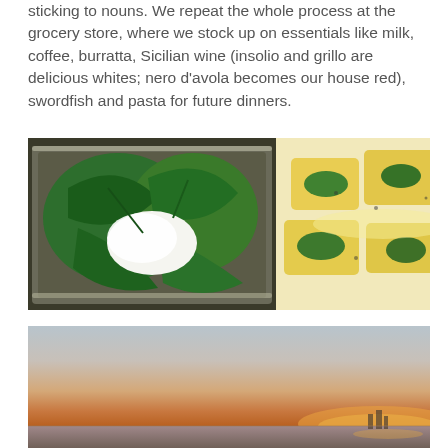sticking to nouns. We repeat the whole process at the grocery store, where we stock up on essentials like milk, coffee, burratta, Sicilian wine (insolio and grillo are delicious whites; nero d'avola becomes our house red), swordfish and pasta for future dinners.
[Figure (photo): Burratta cheese wrapped in green leaves in a foil tray]
[Figure (photo): Yellow ravioli pasta with green herb leaves in cream sauce on a white plate]
[Figure (photo): Sunset or sunrise sky over water with warm orange and pink tones near the horizon]